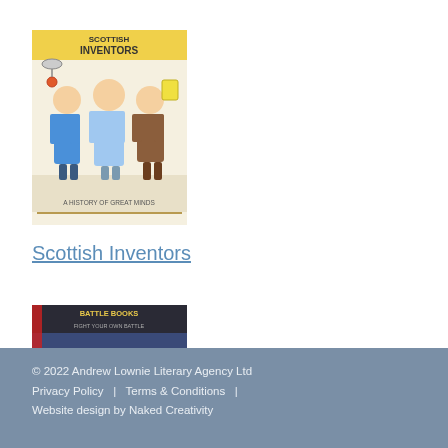[Figure (illustration): Book cover for 'Scottish Inventors' showing cartoon illustrations of inventors with the title text at top]
Scottish Inventors
[Figure (illustration): Book cover for 'Marathon' from Battle Books series showing armored soldiers with 'MARATHON' title text at bottom]
Marathon
© 2022 Andrew Lownie Literary Agency Ltd Privacy Policy | Terms & Conditions | Website design by Naked Creativity